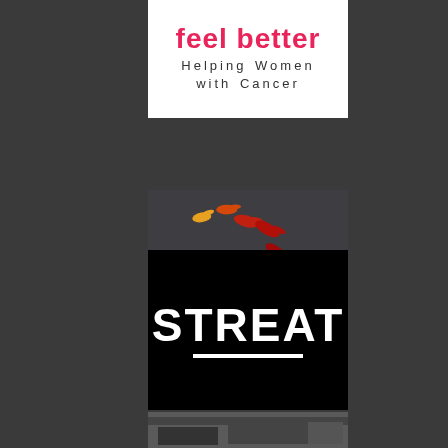[Figure (logo): Feel Better logo - pink/red text 'feel better' with tagline 'Helping Women with Cancer' in letter-spaced text, white background]
[Figure (logo): Rare Voices Australia logo - dark grey background with colorful birds (orange, gold, red) in a circular formation above the text 'rare voices AUSTRALIA']
[Figure (logo): STREAT logo - black background with bold white text 'STREAT' and a white underline beneath]
[Figure (photo): Partial photo of an interior scene, partially visible at the bottom of the page]